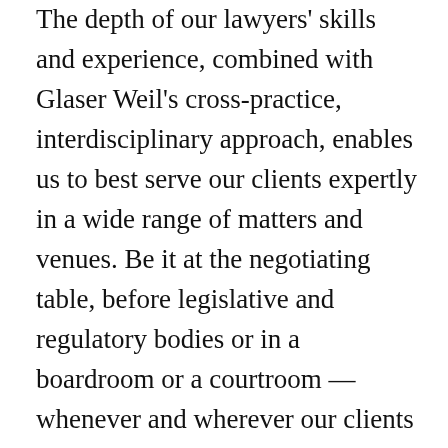The depth of our lawyers' skills and experience, combined with Glaser Weil's cross-practice, interdisciplinary approach, enables us to best serve our clients expertly in a wide range of matters and venues. Be it at the negotiating table, before legislative and regulatory bodies or in a boardroom or a courtroom — whenever and wherever our clients need us, we are there. That is not all that distinguishes Glaser Weil and its team of attorneys. The fact that many of our attorneys have worked together for much of their careers fuels a rare, close-knit, collaborative style that differentiates the firm and allows our lawyers